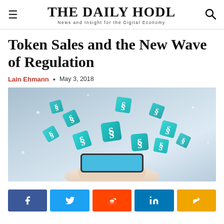THE DAILY HODL — News and Insight for the Digital Economy
Token Sales and the New Wave of Regulation
Lain Ehmann · May 3, 2018
[Figure (photo): A hand holding a smartphone from which multiple teal/green 3D cubes with white section symbols (§) are flying out, representing regulation, on a light gray background.]
Social share buttons: Facebook, Twitter, Reddit, LinkedIn, Share